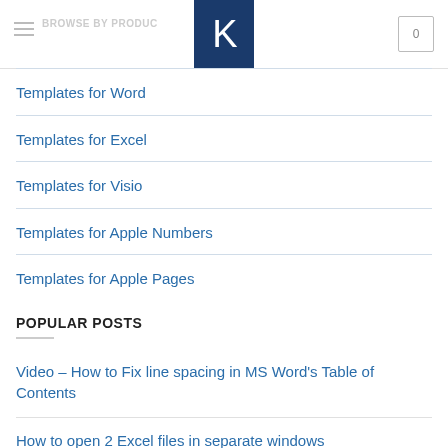BROWSE BY PRODUCT
[Figure (logo): K logo on dark blue background]
Templates for Word
Templates for Excel
Templates for Visio
Templates for Apple Numbers
Templates for Apple Pages
POPULAR POSTS
Video – How to Fix line spacing in MS Word's Table of Contents
How to open 2 Excel files in separate windows